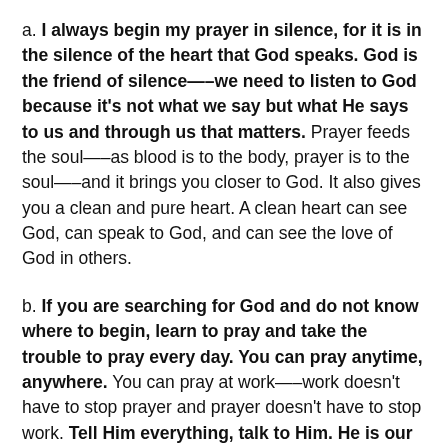a. I always begin my prayer in silence, for it is in the silence of the heart that God speaks. God is the friend of silence—–we need to listen to God because it's not what we say but what He says to us and through us that matters. Prayer feeds the soul—–as blood is to the body, prayer is to the soul—–and it brings you closer to God. It also gives you a clean and pure heart. A clean heart can see God, can speak to God, and can see the love of God in others.
b. If you are searching for God and do not know where to begin, learn to pray and take the trouble to pray every day. You can pray anytime, anywhere. You can pray at work—–work doesn't have to stop prayer and prayer doesn't have to stop work. Tell Him everything, talk to Him. He is our father. He is father